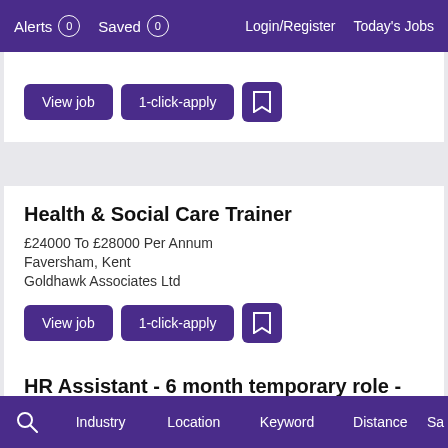Alerts 0  Saved 0  Login/Register  Today's Jobs
View job  1-click-apply  [save]
Health & Social Care Trainer
£24000 To £28000 Per Annum
Faversham, Kent
Goldhawk Associates Ltd
View job  1-click-apply  [save]
HR Assistant - 6 month temporary role - hybrid working
£10.00 - £12.50 Per Hour
Industry  Location  Keyword  Distance  Sa